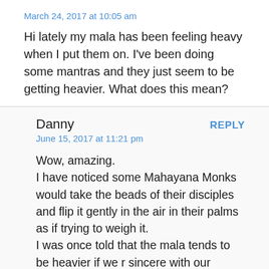March 24, 2017 at 10:05 am
Hi lately my mala has been feeling heavy when I put them on. I've been doing some mantras and they just seem to be getting heavier. What does this mean?
Danny
REPLY
June 15, 2017 at 11:21 pm
Wow, amazing.
I have noticed some Mahayana Monks would take the beads of their disciples and flip it gently in the air in their palms as if trying to weigh it.
I was once told that the mala tends to be heavier if we r sincere with our prayers or